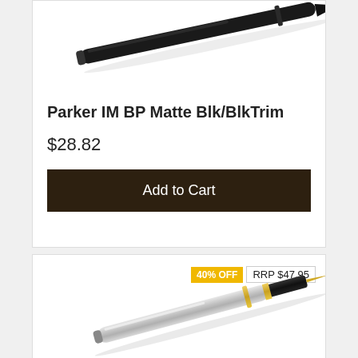[Figure (photo): Parker IM BP Matte Black/BlkTrim ballpoint pen shown diagonally, tip pointing lower right, on white background (top portion)]
Parker IM BP Matte Blk/BlkTrim
$28.82
Add to Cart
40% OFF
RRP $47.95
[Figure (photo): Parker ballpoint pen with brushed steel body and gold trim, shown diagonally on white background]